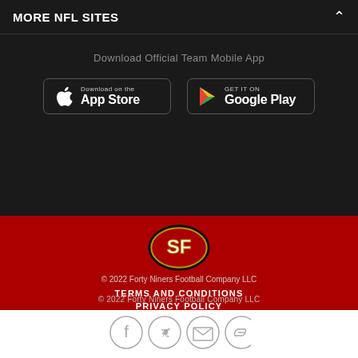MORE NFL SITES
Download Official Team Mobile App
[Figure (logo): Download on the App Store button]
[Figure (logo): Get it on Google Play button]
[Figure (logo): San Francisco 49ers helmet logo - SF letters on red oval with black border]
© 2022 Forty Niners Football Company LLC
TERMS AND CONDITIONS
PRIVACY POLICY
ACCESSIBILITY
CONTACT US
[Figure (other): Social media icons: Facebook, Twitter, Email, Link/Chain]